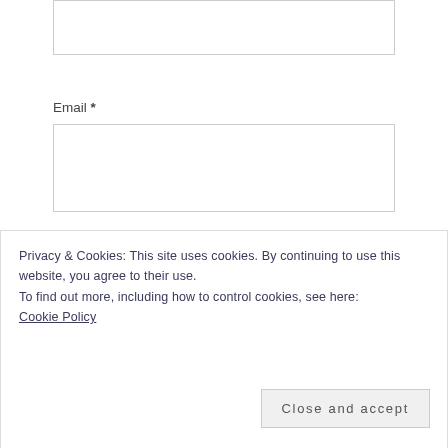(input box at top, partially visible)
Email *
Website
By using this form you agree with the
Privacy & Cookies: This site uses cookies. By continuing to use this website, you agree to their use.
To find out more, including how to control cookies, see here:
Cookie Policy
Close and accept